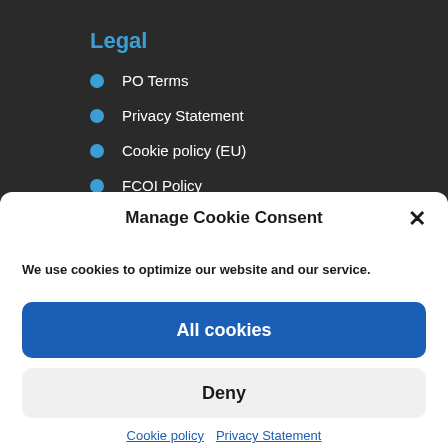Legal
PO Terms
Privacy Statement
Cookie policy (EU)
FCOI Policy
Manage Cookie Consent
We use cookies to optimize our website and our service.
All cookies
Deny
Cookie policy  Privacy Statement